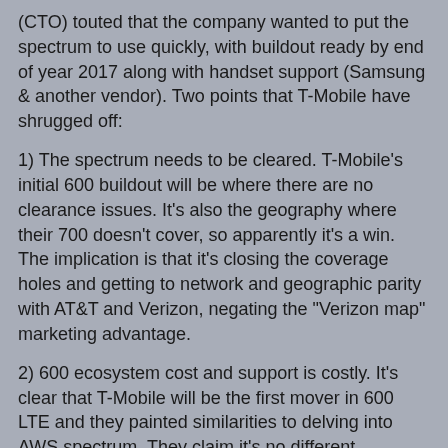(CTO) touted that the company wanted to put the spectrum to use quickly, with buildout ready by end of year 2017 along with handset support (Samsung & another vendor).  Two points that T-Mobile have shrugged off:
1) The spectrum needs to be cleared.  T-Mobile's initial 600 buildout will be where there are no clearance issues. It's also the geography where their 700 doesn't cover, so apparently it's a win.  The implication is that it's closing the coverage holes and getting to network and geographic parity with AT&T and Verizon, negating the "Verizon map" marketing advantage.
2) 600 ecosystem cost and support is costly.  It's clear that T-Mobile will be the first mover in 600 LTE and they painted similarities to delving into AWS spectrum.  They claim it's no different.  However, T-Mobile's modus operandi is and has always been pushing the technical and marketing envelope.  It has a good track record.
So the conventional playbook says that 600 will bring geographic and network parity against AT&T and Verizon,